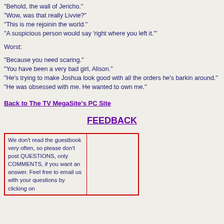"Behold, the wall of Jericho."
"Wow, was that really Livvie?"
"This is me rejoinin the world."
"A suspicious person would say 'right where you left it.'"
Worst:
"Because you need scaring."
"You have been a very bad girl, Alison."
"He's trying to make Joshua look good with all the orders he's barkin around."
"He was obsessed with me. He wanted to own me."
Back to The TV MegaSite's PC Site
FEEDBACK
| We don't read the guestbook very often, so please don't post QUESTIONS, only COMMENTS, if you want an answer. Feel free to email us with your questions by clicking on |  |